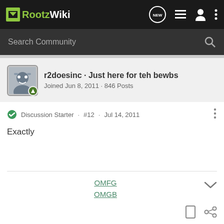RootzWiki
Search Community
r2doesinc · Just here for teh bewbs
Joined Jun 8, 2011 · 846 Posts
Discussion Starter · #12 · Jul 14, 2011
Exactly
OMFG
OMGB